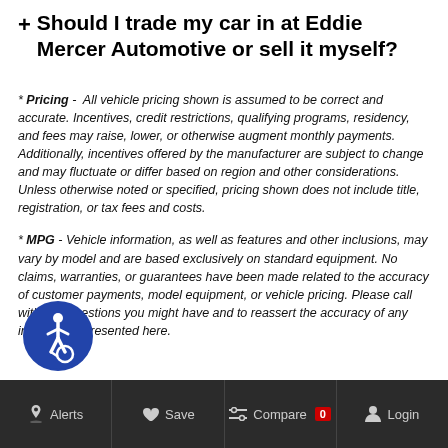+ Should I trade my car in at Eddie Mercer Automotive or sell it myself?
* Pricing - All vehicle pricing shown is assumed to be correct and accurate. Incentives, credit restrictions, qualifying programs, residency, and fees may raise, lower, or otherwise augment monthly payments. Additionally, incentives offered by the manufacturer are subject to change and may fluctuate or differ based on region and other considerations. Unless otherwise noted or specified, pricing shown does not include title, registration, or tax fees and costs.
* MPG - Vehicle information, as well as features and other inclusions, may vary by model and are based exclusively on standard equipment. No claims, warranties, or guarantees have been made related to the accuracy of customer payments, model equipment, or vehicle pricing. Please call with any questions you might have and to reassert the accuracy of any information presented here.
[Figure (illustration): Accessibility icon: blue circle with white wheelchair user symbol]
Alerts  Save  Compare 0  Login